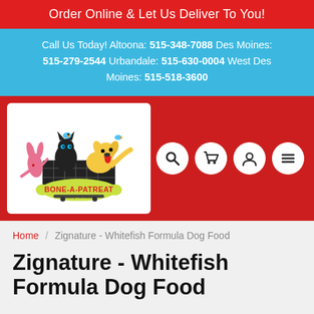Order Online & Let Us Deliver To You!
Call Us Today! Altoona: 515-348-7088 Des Moines: 515-279-2544 Urbandale: 515-630-0004 West Des Moines: 515-518-3600
[Figure (logo): Bone-A-Patreat Healthy Pet Market logo with cartoon animals on a shopping cart]
Home / Zignature - Whitefish Formula Dog Food
Zignature - Whitefish Formula Dog Food